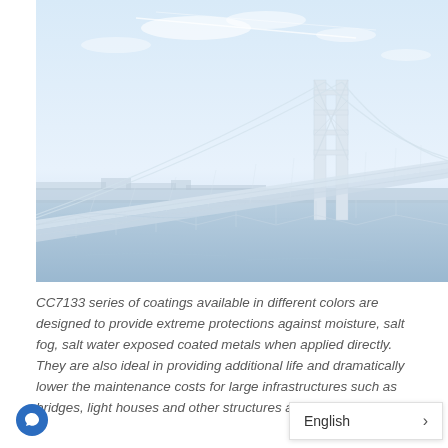[Figure (photo): Photograph of a large suspension bridge (similar to Akashi Kaikyō Bridge) spanning a body of water, with faint blue sky and clouds in the background. Image has a washed-out, pale blue-white tone.]
CC7133 series of coatings available in different colors are designed to provide extreme protections against moisture, salt fog, salt water exposed coated metals when applied directly. They are also ideal in providing additional life and dramatically lower the maintenance costs for large infrastructures such as bridges, light houses and other structures a